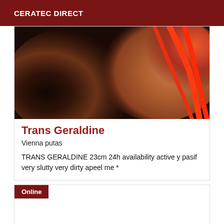CERATEC DIRECT
[Figure (photo): Close-up photo of a person's dark-skinned shoulder and back with a red strap/garment visible on the right side]
Trans Geraldine
Vienna putas
TRANS GERALDINE 23cm 24h availability active y pasif very slutty very dirty apeel me *
Online